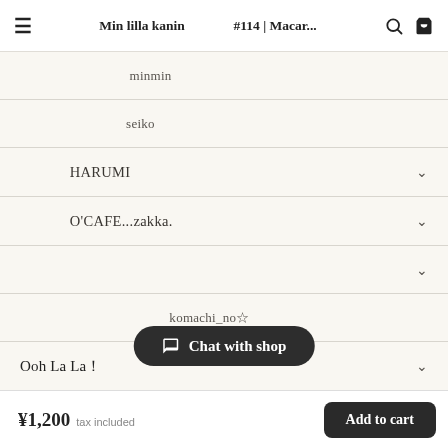Min lilla kanin 🐰🐰🐰 #114 | Macar...
□□□□□□□□ minmin
□□□□□□□□seiko
□□□ HARUMI
□□□ O'CAFE...zakka.
□□□□□□□ □□□□□□□□□□□
□□□□□□□□□□□ komachi_no☆
Ooh La La！
¥1,200  tax included
Chat with shop
Add to cart